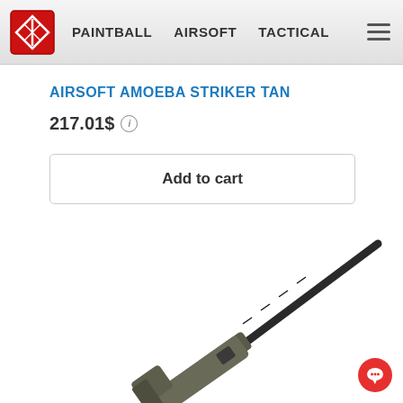PAINTBALL  AIRSOFT  TACTICAL
AIRSOFT AMOEBA STRIKER TAN
217.01$
Add to cart
[Figure (photo): Airsoft rifle barrel and stock, tan/dark colored, shown diagonally from lower left to upper right against white background]